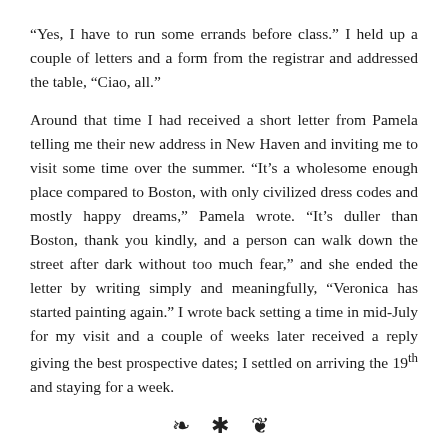“Yes, I have to run some errands before class.” I held up a couple of letters and a form from the registrar and addressed the table, “Ciao, all.”
Around that time I had received a short letter from Pamela telling me their new address in New Haven and inviting me to visit some time over the summer. “It’s a wholesome enough place compared to Boston, with only civilized dress codes and mostly happy dreams,” Pamela wrote. “It’s duller than Boston, thank you kindly, and a person can walk down the street after dark without too much fear,” and she ended the letter by writing simply and meaningfully, “Veronica has started painting again.” I wrote back setting a time in mid-July for my visit and a couple of weeks later received a reply giving the best prospective dates; I settled on arriving the 19th and staying for a week.
[Figure (illustration): Decorative section divider with ornamental flourishes and a central snowflake/asterisk symbol]
Thursday two weeks later I had exhausted all the obvious leads in reconciling the variant accounts in my manuscripts and grew edgy and frustrated when I allowed myself to think about the problem. By that point in the semester our